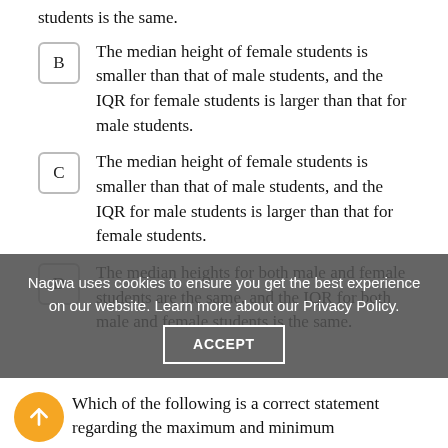students is the same.
B  The median height of female students is smaller than that of male students, and the IQR for female students is larger than that for male students.
C  The median height of female students is smaller than that of male students, and the IQR for male students is larger than that for female students.
D  The median heights for both male and female students are the same, and the IQR for both male and female students is the same.
Nagwa uses cookies to ensure you get the best experience on our website. Learn more about our Privacy Policy.
Which of the following is a correct statement regarding the maximum and minimum...